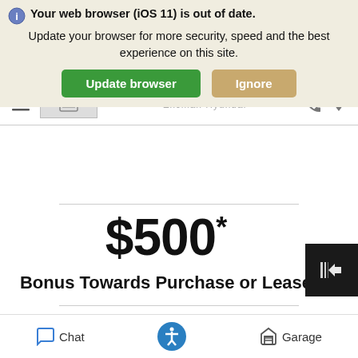[Figure (screenshot): Browser update warning banner with icon, bold warning text 'Your web browser (iOS 11) is out of date.', body text 'Update your browser for more security, speed and the best experience on this site.', and two buttons: green 'Update browser' and tan 'Ignore']
$500* Bonus Towards Purchase or Lease
Thanks for everything you do in
Chat  [accessibility icon]  Garage